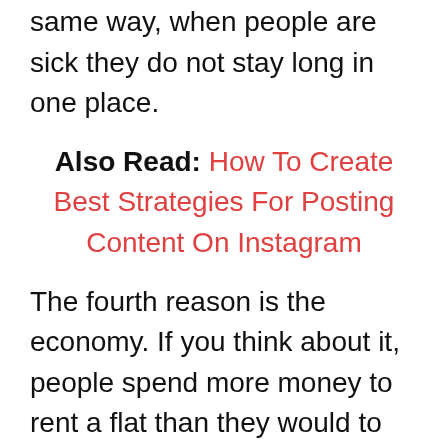same way, when people are sick they do not stay long in one place.
Also Read: How To Create Best Strategies For Posting Content On Instagram
The fourth reason is the economy. If you think about it, people spend more money to rent a flat than they would to buy a house. So, if a tenant has the budget, he can rent some property and get home furniture and appliances for a good price. And, the best thing about this is that he does not have to keep buying expensive stuff and he can save a lot of money on his rent too. He does not have to buy air-con or filter cloths or central air conditioning units